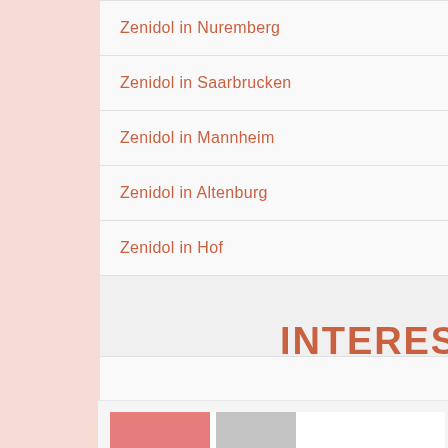Zenidol in Nuremberg
Zenidol in Saarbrucken
Zenidol in Mannheim
Zenidol in Altenburg
Zenidol in Hof
INTERES